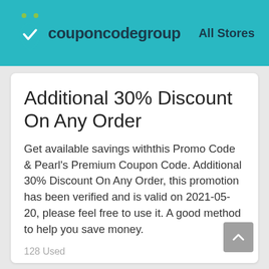couponcodegroup   All Stores
Additional 30% Discount On Any Order
Get available savings withthis Promo Code & Pearl's Premium Coupon Code. Additional 30% Discount On Any Order, this promotion has been verified and is valid on 2021-05-20, please feel free to use it. A good method to help you save money.
128 Used